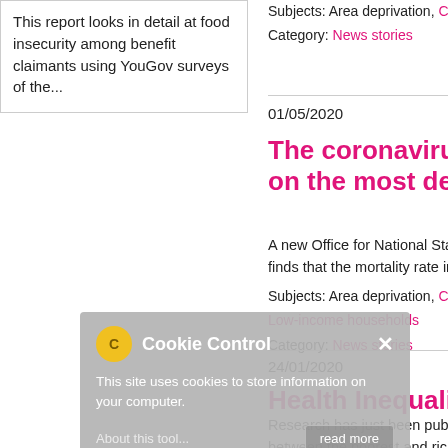This report looks in detail at food insecurity among benefit claimants using YouGov surveys of the...
Subjects: Area deprivation, C...
Category: News stories
01/05/2020
The coronavirus (... on the most depri...
A new Office for National Sta... finds that the mortality rate in...
Subjects: Area deprivation, C...
Low-income households
Category: News stories
24/01/2020
Health Inequalitie...
Research has just been publi... between the poorest and rich...
Cookie Control
This site uses cookies to store information on your computer.
About this tool...
read more